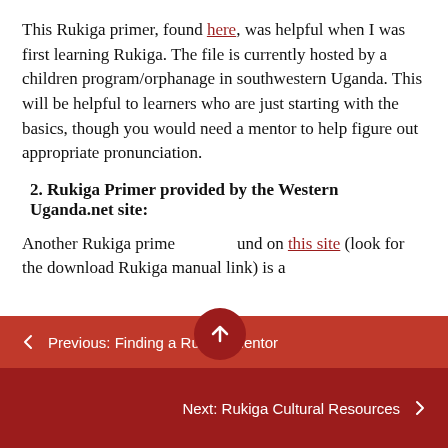This Rukiga primer, found here, was helpful when I was first learning Rukiga. The file is currently hosted by a children program/orphanage in southwestern Uganda. This will be helpful to learners who are just starting with the basics, though you would need a mentor to help figure out appropriate pronunciation.
2. Rukiga Primer provided by the Western Uganda.net site:
Another Rukiga primer found on this site (look for the download Rukiga manual link) is a
← Previous: Finding a Rukiga Mentor
Next: Rukiga Cultural Resources →